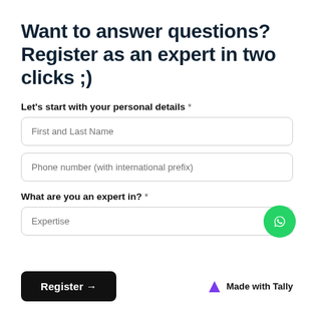Want to answer questions? Register as an expert in two clicks ;)
Let's start with your personal details *
First and Last Name
Phone number (with international prefix) *
What are you an expert in? *
Expertise
Register →
Made with Tally